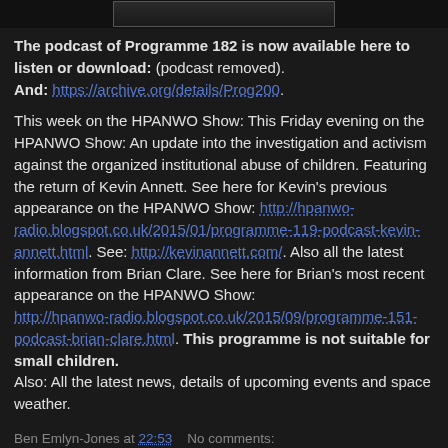[Figure (photo): Dark banner image at top of blog post]
The podcast of Programme 182 is now available here to listen or download: (podcast removed). And: https://archive.org/details/Prog200.
This week on the HPANWO Show: This Friday evening on the HPANWO Show: An update into the investigation and activism against the organized institutional abuse of children. Featuring the return of Kevin Annett. See here for Kevin's previous appearance on the HPANWO Show: http://hpanwo-radio.blogspot.co.uk/2015/01/programme-119-podcast-kevin-annett.html. See: http://kevinannett.com/. Also all the latest information from Brian Clare. See here for Brian's most recent appearance on the HPANWO Show: http://hpanwo-radio.blogspot.co.uk/2015/09/programme-151-podcast-brian-clare.html. This programme is not suitable for small children. Also: All the latest news, details of upcoming events and space weather.
Ben Emlyn-Jones at 22:53   No comments: